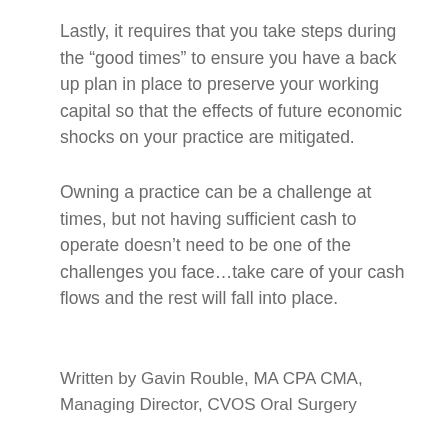Lastly, it requires that you take steps during the “good times” to ensure you have a back up plan in place to preserve your working capital so that the effects of future economic shocks on your practice are mitigated.
Owning a practice can be a challenge at times, but not having sufficient cash to operate doesn’t need to be one of the challenges you face…take care of your cash flows and the rest will fall into place.
Written by Gavin Rouble, MA CPA CMA, Managing Director, CVOS Oral Surgery